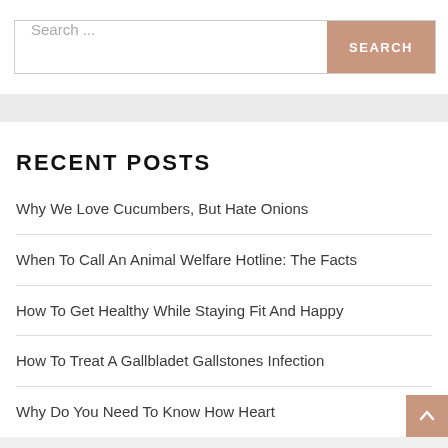Search ...
RECENT POSTS
Why We Love Cucumbers, But Hate Onions
When To Call An Animal Welfare Hotline: The Facts
How To Get Healthy While Staying Fit And Happy
How To Treat A Gallbladet Gallstones Infection
Why Do You Need To Know How Heart